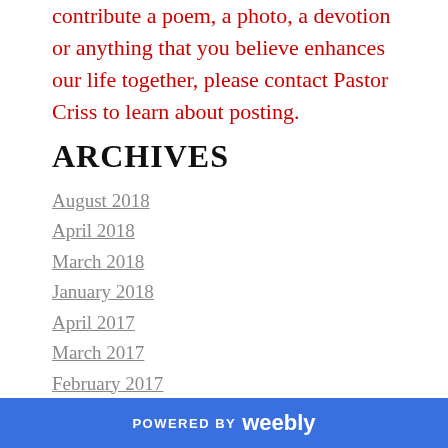contribute a poem, a photo, a devotion or anything that you believe enhances our life together, please contact Pastor Criss to learn about posting.
ARCHIVES
August 2018
April 2018
March 2018
January 2018
April 2017
March 2017
February 2017
January 2017
May 2016
April 2016
POWERED BY weebly